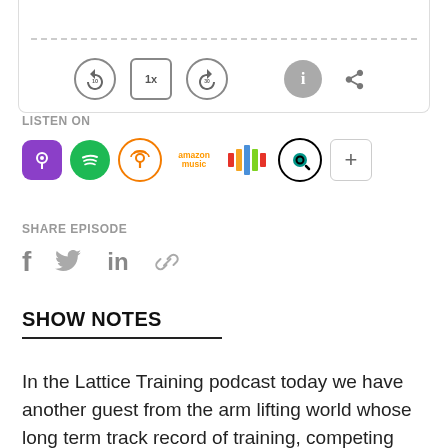[Figure (screenshot): Audio player controls: rewind 10s button, 1x speed button, fast forward 30s button, info button, share button]
LISTEN ON
[Figure (infographic): Podcast platform icons: Apple Podcasts (purple), Spotify (green), Overcast (orange), Amazon Music, Stitcher (bar chart colored), Qcast (black circle), plus button]
SHARE EPISODE
[Figure (infographic): Share icons: Facebook f, Twitter bird, LinkedIn in, link/chain icon]
SHOW NOTES
In the Lattice Training podcast today we have another guest from the arm lifting world whose long term track record of training, competing and record breaking